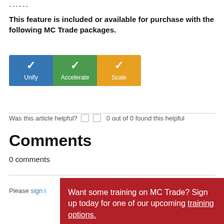------
This feature is included or available for purchase with the following MC Trade packages.
[Figure (infographic): Three colored boxes showing MC Trade packages: Unify (blue), Accelerate (green), Scale (orange), each with a checkmark.]
Was this article helpful?  0 out of 0 found this helpful
Comments
0 comments
Please sign in
Want some training on MC Trade? Sign up today for one of our upcoming training options.